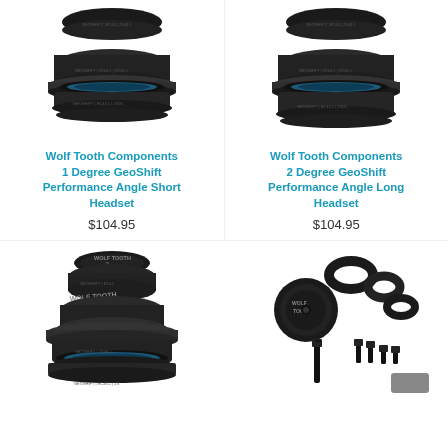[Figure (photo): Wolf Tooth Components 1 Degree GeoShift Performance Angle Short Headset product photo - black anodized bicycle headset components]
Wolf Tooth Components 1 Degree GeoShift Performance Angle Short Headset
$104.95
[Figure (photo): Wolf Tooth Components 2 Degree GeoShift Performance Angle Long Headset product photo - black anodized bicycle headset components]
Wolf Tooth Components 2 Degree GeoShift Performance Angle Long Headset
$104.95
[Figure (photo): Wolf Tooth Components bicycle headset product photo - larger stacked black anodized headset components]
[Figure (photo): Wolf Tooth Components accessories photo - black anodized headset caps, spacers, and bolts]